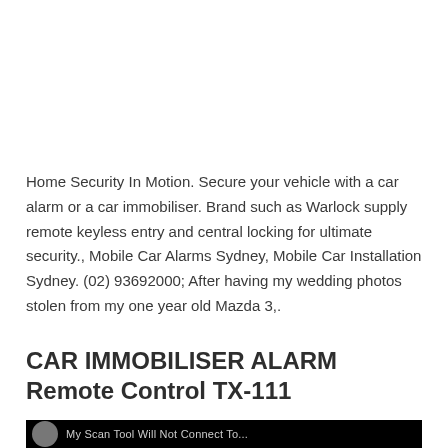Home Security In Motion. Secure your vehicle with a car alarm or a car immobiliser. Brand such as Warlock supply remote keyless entry and central locking for ultimate security., Mobile Car Alarms Sydney, Mobile Car Installation Sydney. (02) 93692000; After having my wedding photos stolen from my one year old Mazda 3,.
CAR IMMOBILISER ALARM Remote Control TX-111
[Figure (photo): Bottom strip showing a dark/black background with a partial circular icon on the left and partial white text reading 'My Scan Tool Will Not Connect To...' on a black bar, cropped at page bottom.]